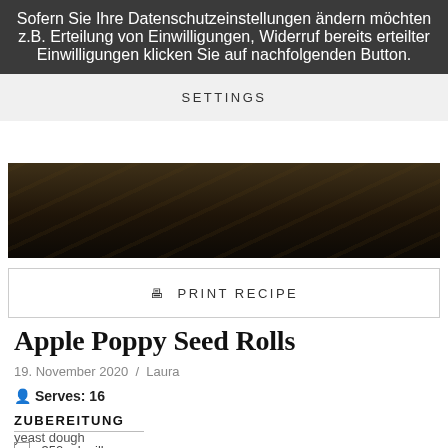Sofern Sie Ihre Datenschutzeinstellungen ändern möchten z.B. Erteilung von Einwilligungen, Widerruf bereits erteilter Einwilligungen klicken Sie auf nachfolgenden Button.
SETTINGS
[Figure (photo): Dark overhead photo of baking or cooking ingredients/tools on a dark wooden surface]
🖨 PRINT RECIPE
Apple Poppy Seed Rolls
19. November 2020 / Laura
Serves: 16
ZUBEREITUNG
yeast dough
350 ml milk, warm